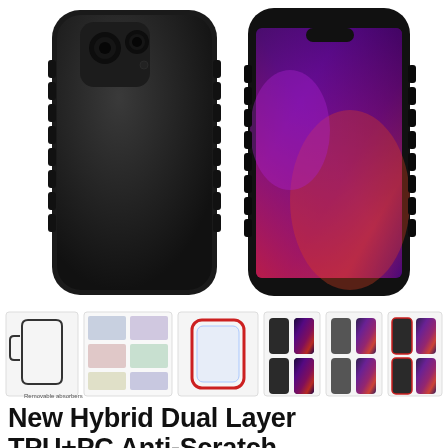[Figure (photo): Product photo showing a black hybrid dual-layer phone case on an iPhone — two views: back of phone with black matte case showing ridged edges (left), and front of phone with colorful purple/pink wallpaper visible (right), both with black protective bumper case.]
[Figure (photo): Row of product thumbnail images: diagram of case layers/components, info card with features listed, transparent/red-framed case, and three sets of phone images showing the case in different color options (black, gray, red-accented).]
New Hybrid Dual Layer TPU+PC Anti-Scratch